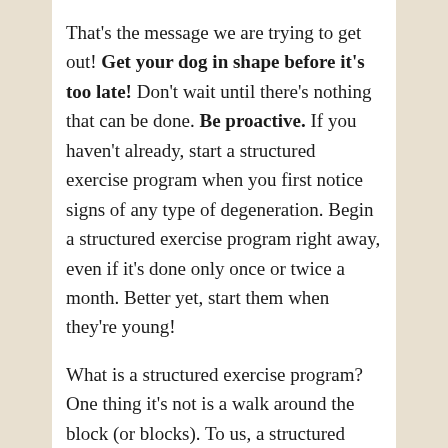That's the message we are trying to get out! Get your dog in shape before it's too late! Don't wait until there's nothing that can be done. Be proactive. If you haven't already, start a structured exercise program when you first notice signs of any type of degeneration. Begin a structured exercise program right away, even if it's done only once or twice a month. Better yet, start them when they're young!
What is a structured exercise program? One thing it's not is a walk around the block (or blocks). To us, a structured exercise session is similar to what personal trainers do for